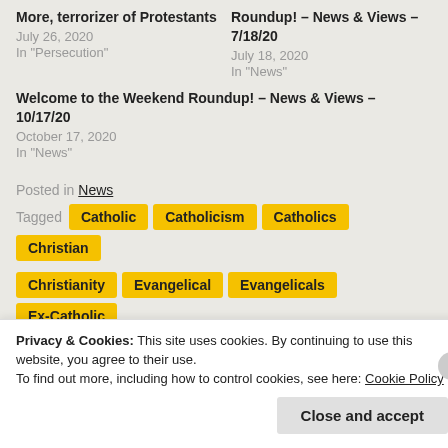More, terrorizer of Protestants
July 26, 2020
In "Persecution"
Roundup! – News & Views – 7/18/20
July 18, 2020
In "News"
Welcome to the Weekend Roundup! – News & Views – 10/17/20
October 17, 2020
In "News"
Posted in News
Tagged Catholic Catholicism Catholics Christian Christianity Evangelical Evangelicals Ex-Catholic
Privacy & Cookies: This site uses cookies. By continuing to use this website, you agree to their use.
To find out more, including how to control cookies, see here: Cookie Policy
Close and accept